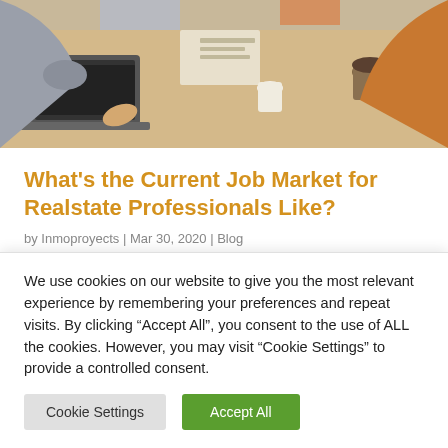[Figure (photo): People sitting around a wooden table in a meeting, with laptops and coffee cups, viewed from above at an angle.]
What's the Current Job Market for Realstate Professionals Like?
by Inmoproyects | Mar 30, 2020 | Blog
Fusce non ornare dui, ut pretium sapien. Cras porta odio et iaculis mattis. Integer ac dapibus ligula. Phasellus vitae nibh pharetra mauris egestas.
We use cookies on our website to give you the most relevant experience by remembering your preferences and repeat visits. By clicking “Accept All”, you consent to the use of ALL the cookies. However, you may visit "Cookie Settings" to provide a controlled consent.